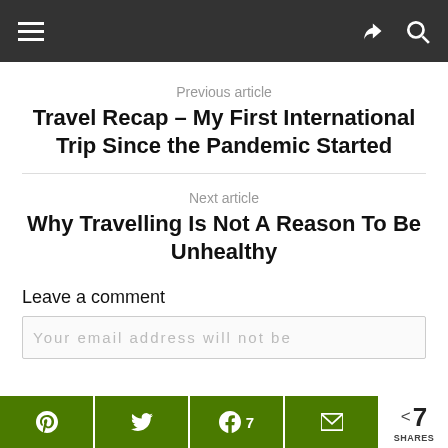Navigation bar with hamburger menu, share and search icons
Previous article
Travel Recap – My First International Trip Since the Pandemic Started
Next article
Why Travelling Is Not A Reason To Be Unhealthy
Leave a comment
Your email address will not be
Share buttons: Pinterest, Twitter, Facebook (7), Email | < 7 SHARES